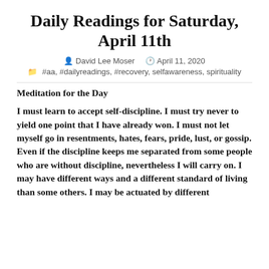Daily Readings for Saturday, April 11th
David Lee Moser   April 11, 2020
#aa, #dailyreadings, #recovery, selfawareness, spirituality
Meditation for the Day
I must learn to accept self-discipline. I must try never to yield one point that I have already won. I must not let myself go in resentments, hates, fears, pride, lust, or gossip. Even if the discipline keeps me separated from some people who are without discipline, nevertheless I will carry on. I may have different ways and a different standard of living than some others. I may be actuated by different